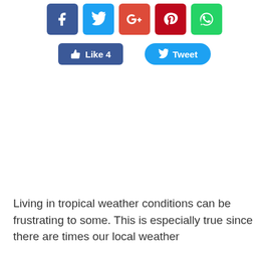[Figure (screenshot): Social media share buttons row: Facebook (blue), Twitter (cyan), Google+ (red), Pinterest (dark red), WhatsApp (green)]
[Figure (screenshot): Like 4 button (Facebook blue, rounded rectangle) and Tweet button (Twitter blue, pill shape)]
Living in tropical weather conditions can be frustrating to some. This is especially true since there are times our local weather